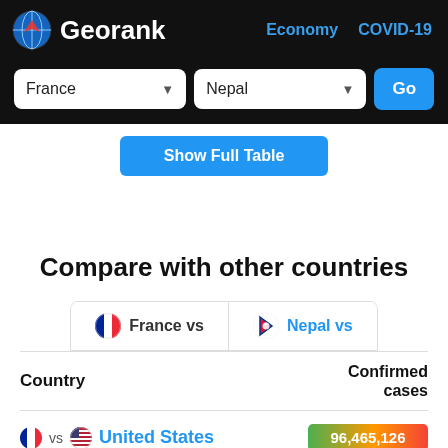Georank | Economy | COVID-19
France | Nepal | Go
Show Full Table
Compare with other countries
| Country | Confirmed cases |
| --- | --- |
| France vs Nepal vs United States | 96,465,126 |